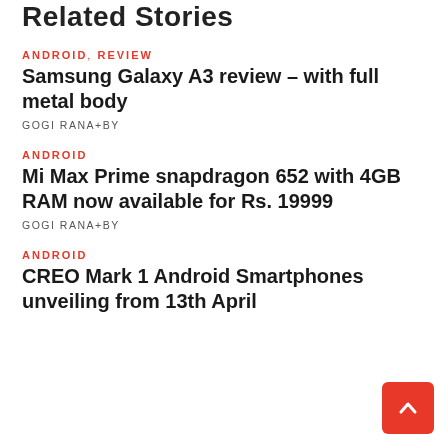Related Stories
ANDROID, REVIEW
Samsung Galaxy A3 review – with full metal body
GOGI RANA+BY
ANDROID
Mi Max Prime snapdragon 652 with 4GB RAM now available for Rs. 19999
GOGI RANA+BY
ANDROID
CREO Mark 1 Android Smartphones unveiling from 13th April